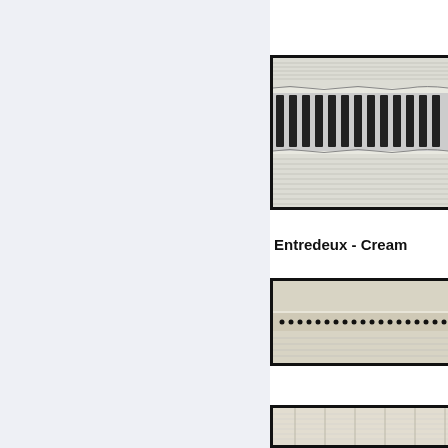[Figure (photo): Close-up photo of a wide entredeux or insertion trim with black and white pattern — rows of white mesh fabric with a central band of thick black vertical stripes, shown on black background]
Entredeux - Cream
[Figure (photo): Close-up photo of a narrow cream/off-white entredeux trim with a row of small black dots along the center, on black background]
[Figure (photo): Close-up photo of a white fabric trim, partially visible at bottom of page, on black background]